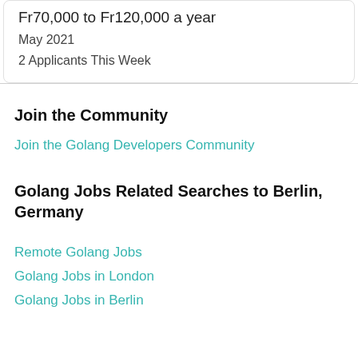Fr70,000 to Fr120,000 a year
May 2021
2 Applicants This Week
Join the Community
Join the Golang Developers Community
Golang Jobs Related Searches to Berlin, Germany
Remote Golang Jobs
Golang Jobs in London
Golang Jobs in Berlin